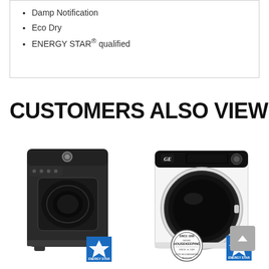Damp Notification
Eco Dry
ENERGY STAR® qualified
CUSTOMERS ALSO VIEWED
[Figure (photo): Black top-load dryer appliance with ENERGY STAR badge]
[Figure (photo): White front-load washer/dryer with Good Housekeeping seal and ENERGY STAR badge]